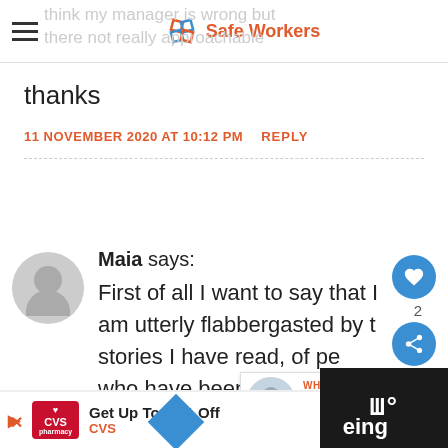Safe Workers
think my manager is wrong but there not really approachable
thanks
11 NOVEMBER 2020 AT 10:12 PM   REPLY
Maia says: First of all I want to say that I am utterly flabbergasted by the stories I have read, of people who have been sick and once
[Figure (screenshot): What's Next promo: How Many Breaks in a ...]
[Figure (screenshot): CVS pharmacy ad: Get Up To 40% Off CVS]